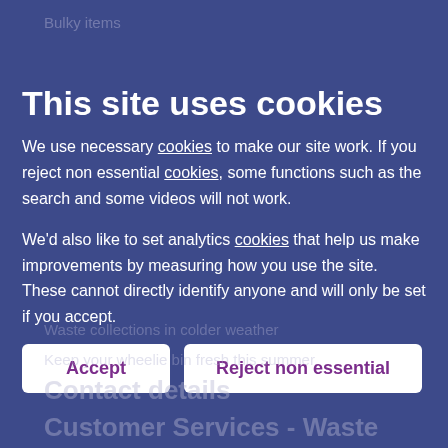Bulky items
Street cleaning
Recycling and recycling centres
Missing bins, recycling sacks and larger bins
This site uses cookies
We use necessary cookies to make our site work. If you reject non essential cookies, some functions such as the search and some videos will not work.
We'd also like to set analytics cookies that help us make improvements by measuring how you use the site. These cannot directly identify anyone and will only be set if you accept.
Waste planning guidance
Waste collections in colder weather
Keep your wheelie bin fresh this summer
Contact details
Customer Services - Waste